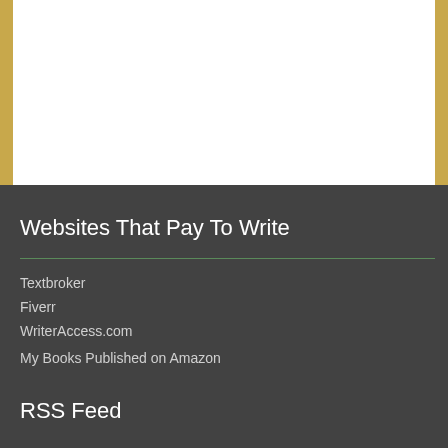[Figure (other): White content area at top of page with decorative tan/brown borders on left and right sides]
Websites That Pay To Write
Textbroker
Fiverr
WriterAccess.com
My Books Published on Amazon
RSS Feed